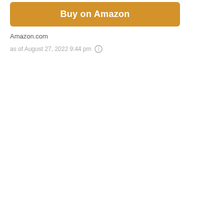[Figure (other): Orange/golden button labeled 'Buy on Amazon']
Amazon.com
as of August 27, 2022 9:44 pm ⓘ